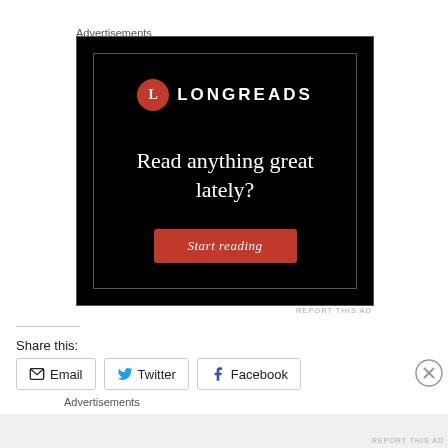Advertisements
[Figure (infographic): Longreads advertisement banner with black background. Features Longreads logo (red circle with 'L' and 'LONGREADS' text), large white serif text reading 'Read anything great lately?', and a red button labeled 'Start reading'.]
REPORT THIS AD
Share this:
Email
Twitter
Facebook
Advertisements
REPORT THIS AD